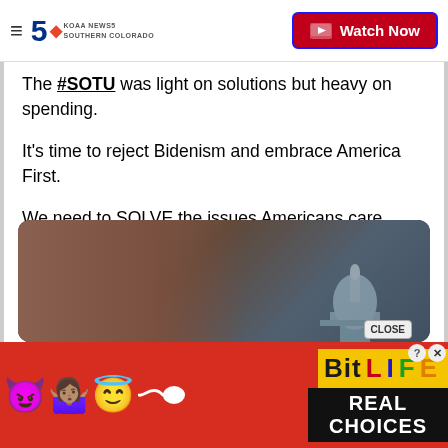KOAA NEWS5 SOUTHERN COLORADO | Watch Now
The #SOTU was light on solutions but heavy on spending.

It's time to reject Bidenism and embrace America First.

We need to SOLVE the issues Americans care about, not spend our country into the ground.
[Figure (screenshot): Twitter video embed showing a woman in front of the US Capitol building with a 'Watch on Twitter' button overlay, and a CLOSE button]
[Figure (infographic): BitLife advertisement banner with red background, emojis (devil, woman shrugging, angel face), sperm icon, BitLife logo in yellow, and 'REAL CHOICES' text in black bar]